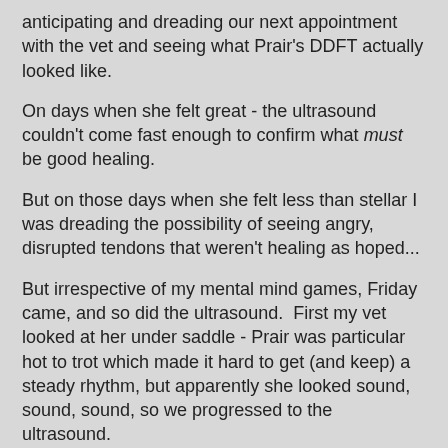anticipating and dreading our next appointment with the vet and seeing what Prair's DDFT actually looked like.
On days when she felt great - the ultrasound couldn't come fast enough to confirm what must be good healing.
But on those days when she felt less than stellar I was dreading the possibility of seeing angry, disrupted tendons that weren't healing as hoped...
But irrespective of my mental mind games, Friday came, and so did the ultrasound.  First my vet looked at her under saddle - Prair was particular hot to trot which made it hard to get (and keep) a steady rhythm, but apparently she looked sound, sound, sound, so we progressed to the ultrasound.
Vets have such a good poker face when they are doing diagnostics... I literally had no idea if she was loving what she saw, or gravely concerned until she was done taking still images and stood up with an assertive "okay, here's the deal."